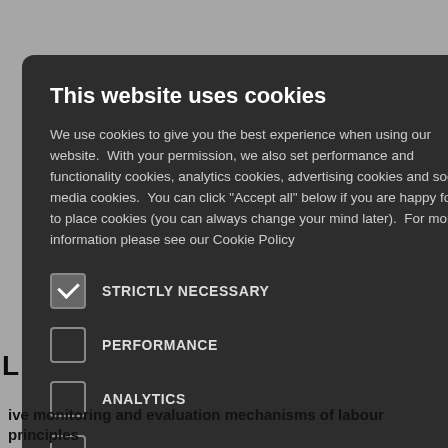ctivities that the COP to fulfill metrics, and
ort human rights thropic/social advocacy; ective action
tices
[Figure (screenshot): Cookie consent modal dialog on a dark background. Title: 'This website uses cookies'. Body text explains cookie usage. Contains checkboxes for: STRICTLY NECESSARY (checked), PERFORMANCE (unchecked), ANALYTICS (unchecked), FUNCTIONALITY (unchecked), SOCIAL MEDIA (unchecked). Close button (×) in top right.]
ive monitoring and evaluation mechanisms of labour principles